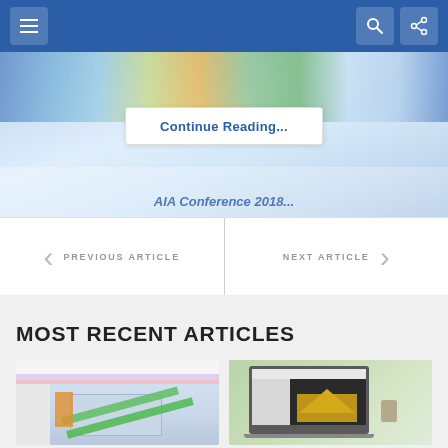Navigation bar with menu, search, and share icons
[Figure (screenshot): Hero image of AIA Conference 2018 with colorful architectural panels, overlaid with a 'Continue Reading...' button]
AIA Conference 2018...
PREVIOUS ARTICLE   NEXT ARTICLE
MOST RECENT ARTICLES
[Figure (screenshot): Software interface showing a 3D BIM model of a building with green landscape paths]
[Figure (screenshot): Laptop on desk with software interface showing yellow 3D model component]